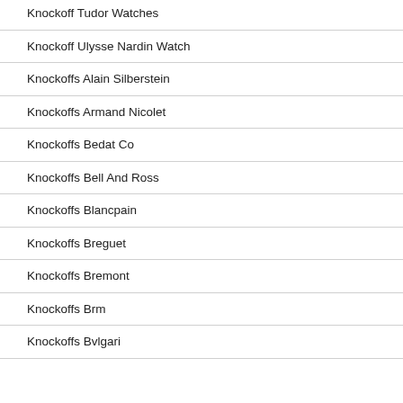Knockoff Tudor Watches
Knockoff Ulysse Nardin Watch
Knockoffs Alain Silberstein
Knockoffs Armand Nicolet
Knockoffs Bedat Co
Knockoffs Bell And Ross
Knockoffs Blancpain
Knockoffs Breguet
Knockoffs Bremont
Knockoffs Brm
Knockoffs Bvlgari